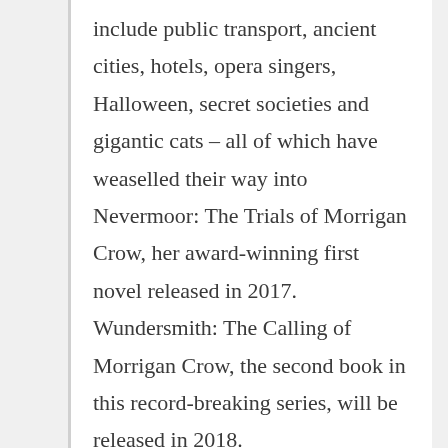include public transport, ancient cities, hotels, opera singers, Halloween, secret societies and gigantic cats – all of which have weaselled their way into Nevermoor: The Trials of Morrigan Crow, her award-winning first novel released in 2017. Wundersmith: The Calling of Morrigan Crow, the second book in this record-breaking series, will be released in 2018.
Nevermoor: The Trials of Morrigan Crow was the biggest-selling Australian children's